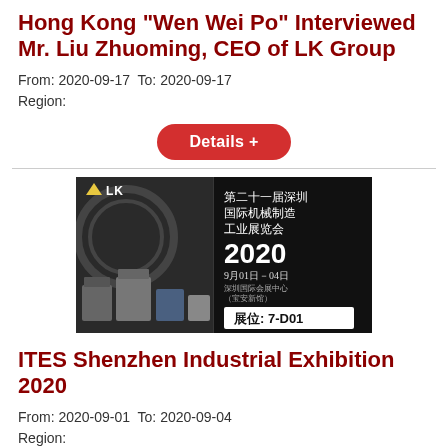Hong Kong "Wen Wei Po" Interviewed Mr. Liu Zhuoming, CEO of LK Group
From: 2020-09-17  To: 2020-09-17
Region:
[Figure (other): Details + button (red pill button)]
[Figure (other): LK Group exhibition banner for ITES Shenzhen 2020, 第二十一届深圳国际机械制造工业展览会, 2020 9月01日-04日, 展位: 7-D01]
ITES Shenzhen Industrial Exhibition 2020
From: 2020-09-01  To: 2020-09-04
Region:
[Figure (other): Details + button (red pill button)]